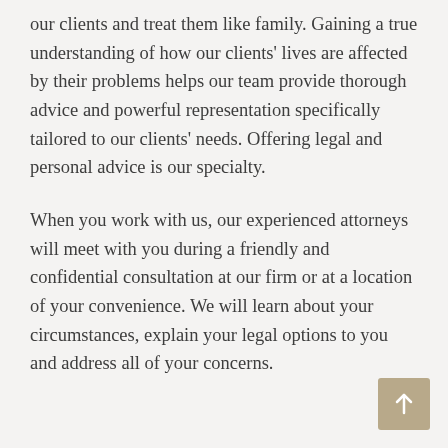our clients and treat them like family. Gaining a true understanding of how our clients' lives are affected by their problems helps our team provide thorough advice and powerful representation specifically tailored to our clients' needs. Offering legal and personal advice is our specialty.
When you work with us, our experienced attorneys will meet with you during a friendly and confidential consultation at our firm or at a location of your convenience. We will learn about your circumstances, explain your legal options to you and address all of your concerns.